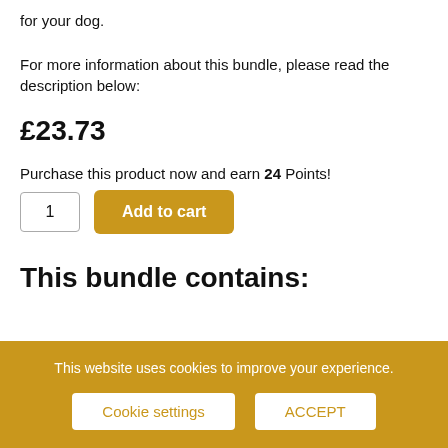for your dog.
For more information about this bundle, please read the description below:
£23.73
Purchase this product now and earn 24 Points!
This bundle contains:
This website uses cookies to improve your experience.
Cookie settings
ACCEPT